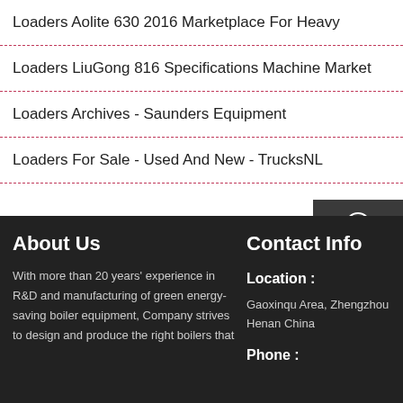Loaders Aolite 630 2016 Marketplace For Heavy
Loaders LiuGong 816 Specifications Machine Market
Loaders Archives - Saunders Equipment
Loaders For Sale - Used And New - TrucksNL
About Us
With more than 20 years' experience in R&D and manufacturing of green energy-saving boiler equipment, Company strives to design and produce the right boilers that
Contact Info
Location :
Gaoxinqu Area, Zhengzhou Henan China
Phone :
[Figure (infographic): Side panel with Chat, Email, and Contact buttons with icons on dark background]